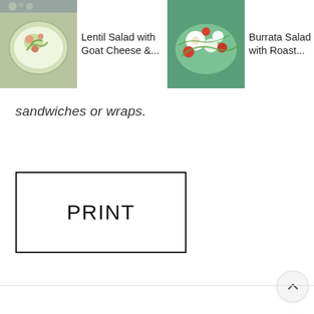[Figure (screenshot): Horizontal scrollable card strip showing recipe thumbnails: 'Lentil Salad with Goat Cheese &...', 'Burrata Salad with Roast...', 'Burrata Salad w/Cherry...' with a search icon overlay on the third card. Each card has a food photo and text.]
sandwiches or wraps.
PRINT
[Figure (infographic): Three floating action buttons on right side: an up chevron button (light grey), a heart/favorite button (light grey with teal heart), and a search button (teal circle with white magnifying glass).]